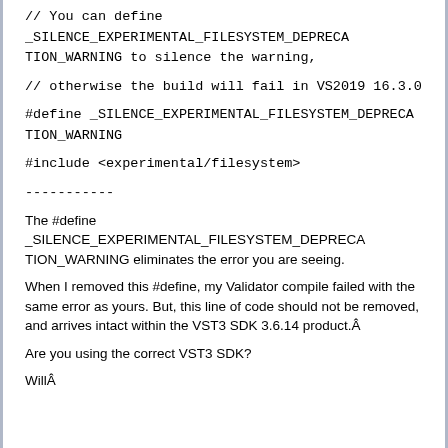// You can define _SILENCE_EXPERIMENTAL_FILESYSTEM_DEPRECATION_WARNING to silence the warning,
// otherwise the build will fail in VS2019 16.3.0
#define _SILENCE_EXPERIMENTAL_FILESYSTEM_DEPRECATION_WARNING
#include <experimental/filesystem>
-----------
The #define _SILENCE_EXPERIMENTAL_FILESYSTEM_DEPRECATION_WARNING eliminates the error you are seeing.
When I removed this #define, my Validator compile failed with the same error as yours. But, this line of code should not be removed, and arrives intact within the VST3 SDK 3.6.14 product.Â
Are you using the correct VST3 SDK?
WillÂ